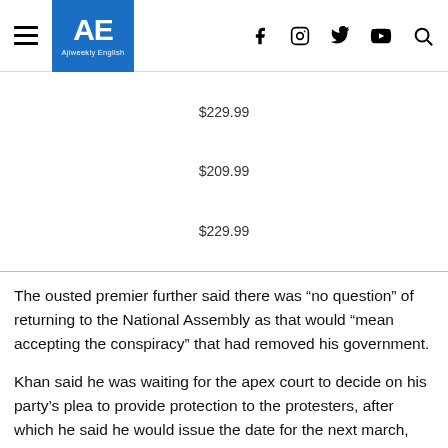AE Ajiweekly English [nav icons: hamburger, facebook, instagram, twitter, youtube, search]
$229.99
$209.99
$229.99
The ousted premier further said there was “no question” of returning to the National Assembly as that would “mean accepting the conspiracy” that had removed his government.
Khan said he was waiting for the apex court to decide on his party’s plea to provide protection to the protesters, after which he said he would issue the date for the next march,